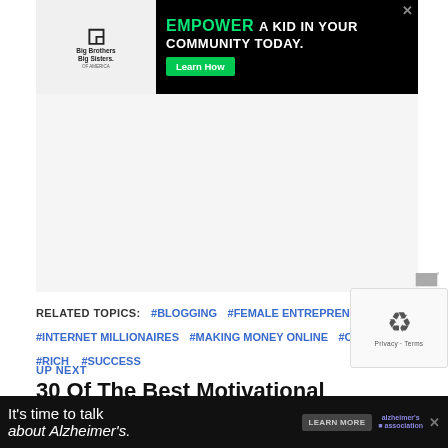[Figure (screenshot): Big Brothers Big Sisters advertisement banner: EMPOWER A KID IN YOUR COMMUNITY TODAY. with Learn How button on black background]
[Figure (screenshot): Empty advertisement placeholder area (light gray background)]
RELATED TOPICS: #BLOGGING #FEMALE ENTREPRENEURS #INTERNET MILLIONAIRES #MAKING MONEY ONLINE #ON... #RICH #SUCCESS
UP NEXT
30 Of The Best Motivational Quotes For Entrepreneur Success
[Figure (screenshot): Alzheimer's awareness advertisement banner at bottom: It's time to talk about Alzheimer's. with LEARN MORE button]
[Figure (screenshot): reCAPTCHA Privacy - Terms overlay widget]